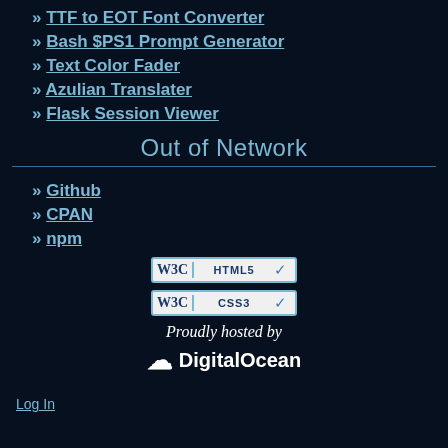» TTF to EOT Font Converter
» Bash $PS1 Prompt Generator
» Text Color Fader
» Azulian Translater
» Flask Session Viewer
Out of Network
» Github
» CPAN
» npm
[Figure (logo): W3C HTML5 validation badge and W3C CSS3 validation badge, followed by 'Proudly hosted by DigitalOcean' logo]
Log In